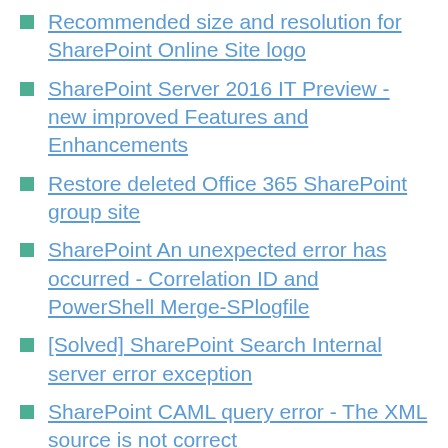Recommended size and resolution for SharePoint Online Site logo
SharePoint Server 2016 IT Preview - new improved Features and Enhancements
Restore deleted Office 365 SharePoint group site
SharePoint An unexpected error has occurred - Correlation ID and PowerShell Merge-SPlogfile
[Solved] SharePoint Search Internal server error exception
SharePoint CAML query error - The XML source is not correct
How to hide quick launch in SharePoint classic site
Not receiving email notification alert in SharePoint Online workflow - Power